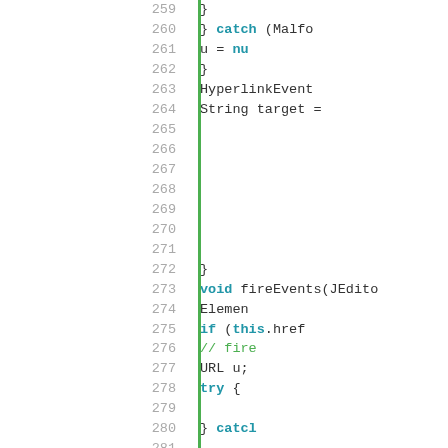[Figure (screenshot): Code editor screenshot showing Java source code lines 259-282 with line numbers on the left, a green vertical bar separator, and syntax-highlighted code on the right. Keywords like catch, void, if, try are in bold teal; comments in green; identifiers in dark color.]